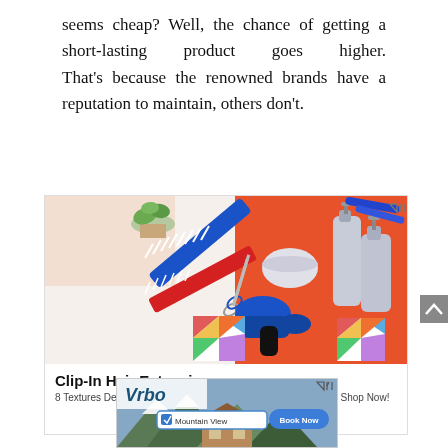seems cheap? Well, the chance of getting a short-lasting product goes higher. That's because the renowned brands have a reputation to maintain, others don't.
[Figure (photo): Advertisement image showing hair styling tools including blue and red combs, scissors, a blue hair dryer, two grey spray/pump bottles, decorative geometric boxes, and a small succulent plant, arranged on a white and orange background.]
Clip-In Hair Extensions
8 Textures Designed For Relaxed, Transitioning Or Natural Hair. Shop Now!
[Figure (screenshot): Bottom advertisement banner for Vrbo showing mountain cabin rental with Mountain View search field and Book Now button.]